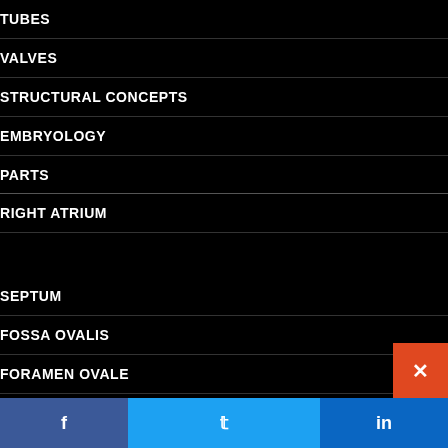TUBES
VALVES
STRUCTURAL CONCEPTS
EMBRYOLOGY
PARTS
RIGHT ATRIUM
SEPTUM
FOSSA OVALIS
FORAMEN OVALE
SEPTUM PRIMUM
ENDOCARDIAL CUSHIONS
f  ✓  in